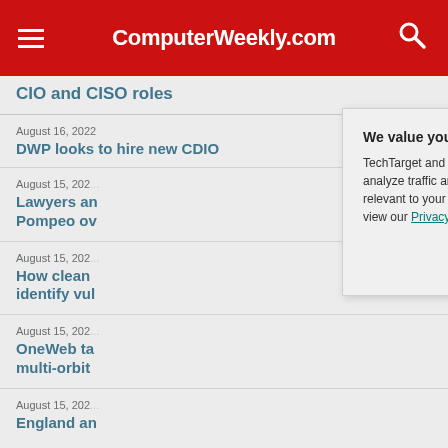ComputerWeekly.com
CIO and CISO roles
August 16, 2022
DWP looks to hire new CDIO
August 15, 202...
Lawyers and... Pompeo ov...
August 15, 202...
How clean ... identify vul...
August 15, 202...
OneWeb ta... multi-orbit ...
August 15, 202...
England an...
We value your privacy. TechTarget and its partners employ cookies to improve your experience on our site, to analyze traffic and performance, and to serve personalized content and advertising that are relevant to your professional interests. You can manage your settings at any time. Please view our Privacy Policy for more information